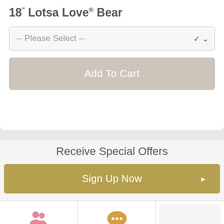18" Lotsa Love® Bear
-- Please Select --
Add To Cart
Receive Special Offers
Sign Up Now
About Us
Contact Us